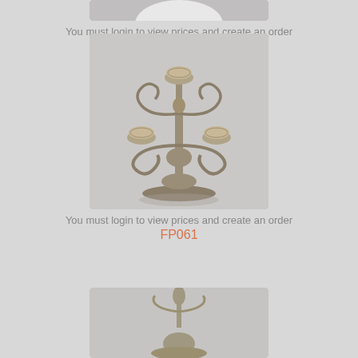[Figure (photo): Partial view of a product image at the top of the page, cut off - appears to be a decorative item on light background]
You must login to view prices and create an order
FP063
[Figure (photo): A silver/gold candelabra with three candle holders - ornate metal stand with decorative scrollwork and round glass cup holders on three arms]
You must login to view prices and create an order
FP061
[Figure (photo): Partial view of another decorative candle holder or similar product, partially cut off at the bottom of the page]